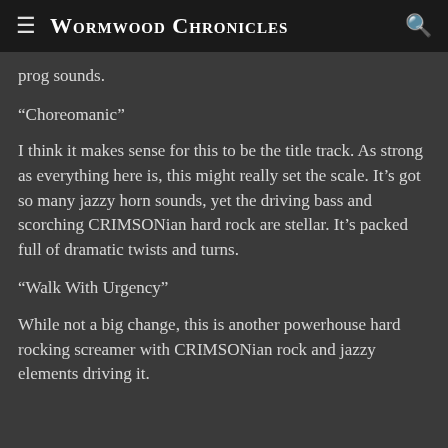Wormwood Chronicles
prog sounds.
“Choreomanic”
I think it makes sense for this to be the title track. As strong as everything here is, this might really set the scale. It’s got so many jazzy horn sounds, yet the driving bass and scorching CRIMSONian hard rock are stellar. It’s packed full of dramatic twists and turns.
“Walk With Urgency”
While not a big change, this is another powerhouse hard rocking screamer with CRIMSONian rock and jazzy elements driving it.